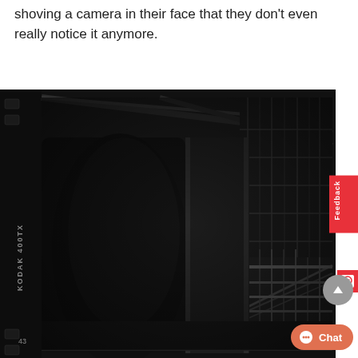shoving a camera in their face that they don't even really notice it anymore.
[Figure (photo): Black and white film photograph on Kodak 400TX film (frame 43). A blurred figure in the foreground occupies the left side; in the background, a woman in a dress stands near metal railings in what appears to be an urban stairwell or fire escape structure.]